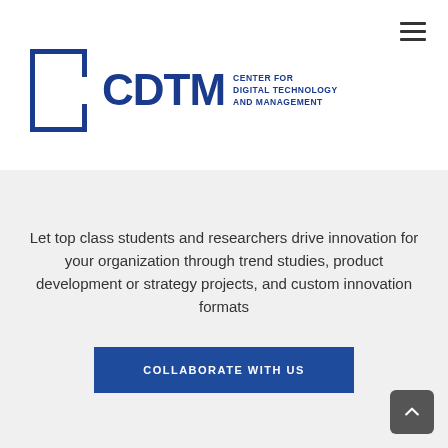[Figure (logo): CDTM - Center for Digital Technology and Management logo with blue bracket frame and bold letters]
Let top class students and researchers drive innovation for your organization through trend studies, product development or strategy projects, and custom innovation formats
COLLABORATE WITH US